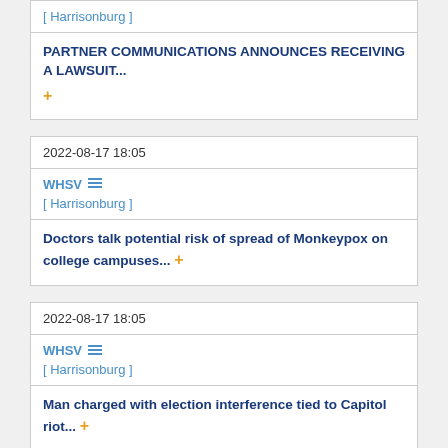[ Harrisonburg ]
PARTNER COMMUNICATIONS ANNOUNCES RECEIVING A LAWSUIT... +
2022-08-17 18:05
WHSV [ Harrisonburg ]
Doctors talk potential risk of spread of Monkeypox on college campuses... +
2022-08-17 18:05
WHSV [ Harrisonburg ]
Man charged with election interference tied to Capitol riot... +
2022-08-17 18:04